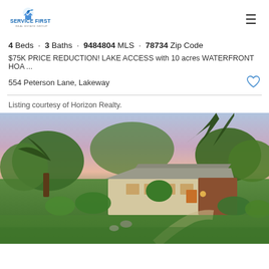Service First Real Estate Group
4 Beds · 3 Baths · 9484804 MLS · 78734 Zip Code
$75K PRICE REDUCTION! LAKE ACCESS with 10 acres WATERFRONT HOA ...
554 Peterson Lane, Lakeway
Listing courtesy of Horizon Realty.
[Figure (photo): Exterior photo of a single-story mid-century modern home with lush green landscaping, trees with spreading branches, and a pink/purple sunset sky in the background.]